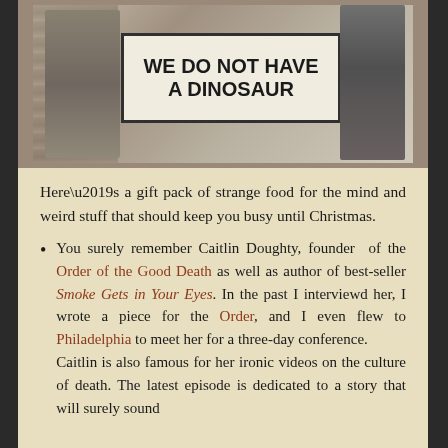[Figure (photo): Black and white photo of two people holding a sign that reads 'WE DO NOT HAVE A DINOSAUR']
Here’s a gift pack of strange food for the mind and weird stuff that should keep you busy until Christmas.
You surely remember Caitlin Doughty, founder of the Order of the Good Death as well as author of best-seller Smoke Gets in Your Eyes. In the past I interviewd her, I wrote a piece for the Order, and I even flew to Philadelphia to meet her for a three-day conference.
Caitlin is also famous for her ironic videos on the culture of death. The latest episode is dedicated to a story that will surely sound